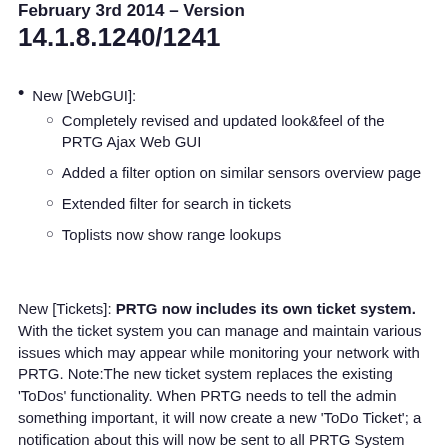February 3rd 2014 – Version 14.1.8.1240/1241
New [WebGUI]:
Completely revised and updated look&feel of the PRTG Ajax Web GUI
Added a filter option on similar sensors overview page
Extended filter for search in tickets
Toplists now show range lookups
New [Tickets]: PRTG now includes its own ticket system. With the ticket system you can manage and maintain various issues which may appear while monitoring your network with PRTG. Note:The new ticket system replaces the existing 'ToDos' functionality. When PRTG needs to tell the admin something important, it will now create a new 'ToDo Ticket'; a notification about this will now be sent to all PRTG System Administrators user groups.